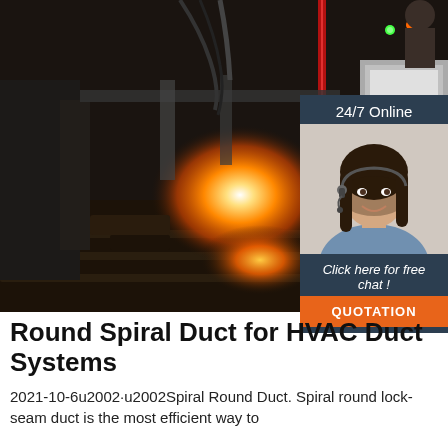[Figure (photo): Industrial photo of a spiral duct manufacturing machine with bright orange/yellow flame or sparks visible in a dark factory setting, with red laser or rod visible, machinery and equipment in background]
[Figure (photo): Sidebar overlay showing a smiling woman with dark hair wearing a headset, representing a 24/7 online customer service agent. Dark blue background with text '24/7 Online', 'Click here for free chat!', and an orange 'QUOTATION' button.]
Round Spiral Duct for HVAC Duct Systems
2021-10-6u2002·u2002Spiral Round Duct. Spiral round lock-seam duct is the most efficient way to